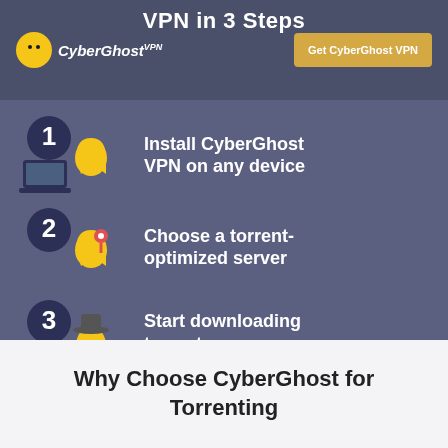VPN in 3 Steps
[Figure (logo): CyberGhost VPN logo with yellow ghost icon]
[Figure (infographic): Yellow ghost character with laptop and number 1 circle icon for step 1]
Install CyberGhost VPN on any device
[Figure (infographic): Yellow ghost character with location pin and number 2 circle icon for step 2]
Choose a torrent-optimized server
[Figure (infographic): Yellow ghost character with hat and sunglasses and number 3 circle icon for step 3]
Start downloading torrents anonymously
Why Choose CyberGhost for Torrenting